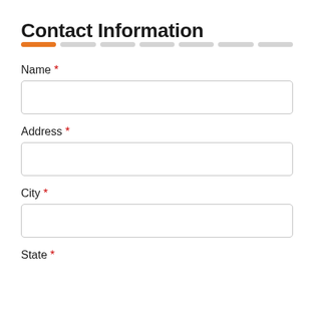Contact Information
Name *
Address *
City *
State *